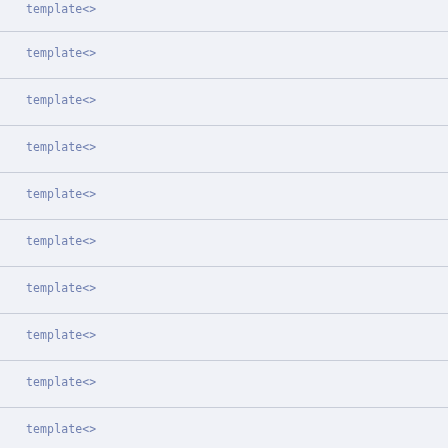template<>
template<>
template<>
template<>
template<>
template<>
template<>
template<>
template<>
template<>